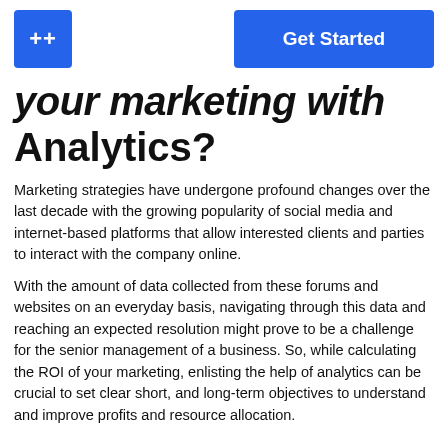++ | Get Started
your marketing with Analytics?
Marketing strategies have undergone profound changes over the last decade with the growing popularity of social media and internet-based platforms that allow interested clients and parties to interact with the company online.
With the amount of data collected from these forums and websites on an everyday basis, navigating through this data and reaching an expected resolution might prove to be a challenge for the senior management of a business. So, while calculating the ROI of your marketing, enlisting the help of analytics can be crucial to set clear short, and long-term objectives to understand and improve profits and resource allocation.